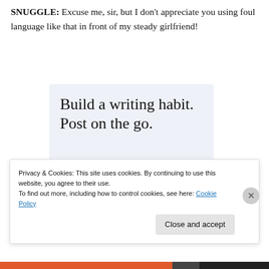SNUGGLE: Excuse me, sir, but I don't appreciate you using foul language like that in front of my steady girlfriend!
[Figure (illustration): WordPress advertisement: 'Build a writing habit. Post on the go.' with GET THE APP call-to-action and WordPress logo]
Privacy & Cookies: This site uses cookies. By continuing to use this website, you agree to their use.
To find out more, including how to control cookies, see here: Cookie Policy
Close and accept